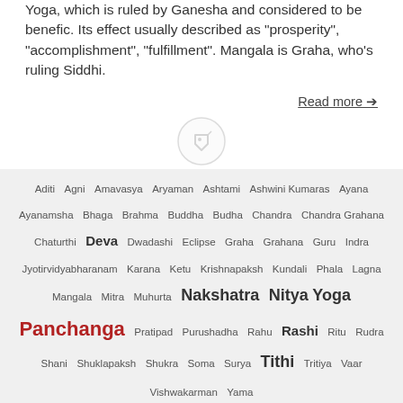Yoga, which is ruled by Ganesha and considered to be benefic. Its effect usually described as "prosperity", "accomplishment", "fulfillment". Mangala is Graha, who's ruling Siddhi.
Read more →
[Figure (illustration): Tag icon (price tag outline)]
Aditi Agni Amavasya Aryaman Ashtami Ashwini Kumaras Ayana Ayanamsha Bhaga Brahma Buddha Budha Chandra Chandra Grahana Chaturthi Deva Dwadashi Eclipse Graha Grahana Guru Indra Jyotirvidyabharanam Karana Ketu Krishnapaksh Kundali Phala Lagna Mangala Mitra Muhurta Nakshatra Nitya Yoga Panchanga Pratipad Purushadha Rahu Rashi Ritu Rudra Shani Shuklapaksh Shukra Soma Surya Tithi Tritiya Vaar Vishwakarman Yama
All tags →